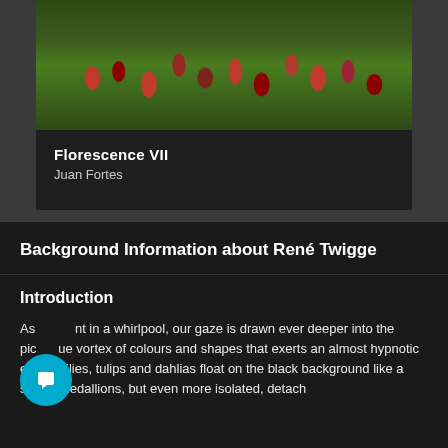[Figure (photo): Photograph of colorful tulips and flowers with red, pink, and green colors against a dark background, partially visible at the top of a card]
Florescence VII
Juan Fortes
Background Information about René Twigge
Introduction
As caught in a whirlpool, our gaze is drawn ever deeper into the picture's vortex of colours and shapes that exerts an almost hypnotic effect. Lilies, tulips and dahlias float on the black background like a sea of medallions, but even more isolated, detached